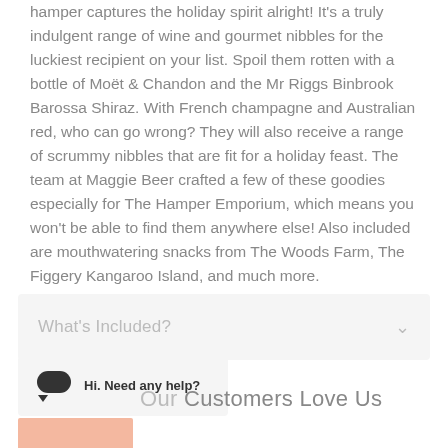hamper captures the holiday spirit alright! It's a truly indulgent range of wine and gourmet nibbles for the luckiest recipient on your list. Spoil them rotten with a bottle of Moët & Chandon and the Mr Riggs Binbrook Barossa Shiraz. With French champagne and Australian red, who can go wrong? They will also receive a range of scrummy nibbles that are fit for a holiday feast. The team at Maggie Beer crafted a few of these goodies especially for The Hamper Emporium, which means you won't be able to find them anywhere else! Also included are mouthwatering snacks from The Woods Farm, The Figgery Kangaroo Island, and much more.
What's Included?
Hi. Need any help?
Our Customers Love Us